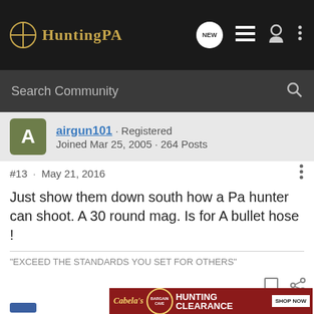HuntingPA
Search Community
airgun101 · Registered
Joined Mar 25, 2005 · 264 Posts
#13 · May 21, 2016
Just show them down south how a Pa hunter can shoot. A 30 round mag. Is for A bullet hose !
"EXCEED THE STANDARDS YOU SET FOR OTHERS"
[Figure (screenshot): Cabela's Bargain Cave Hunting Clearance Shop Now advertisement banner]